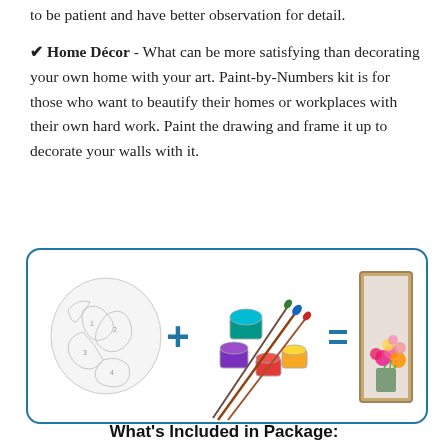to be patient and have better observation for detail.
✔ Home Décor - What can be more satisfying than decorating your own home with your art. Paint-by-Numbers kit is for those who want to beautify their homes or workplaces with their own hard work. Paint the drawing and frame it up to decorate your walls with it.
[Figure (infographic): Infographic inside a rounded teal-bordered rectangle showing: a white numbered outline drawing + paint cups and brushes = a finished floral painting.]
What's Included in Package: